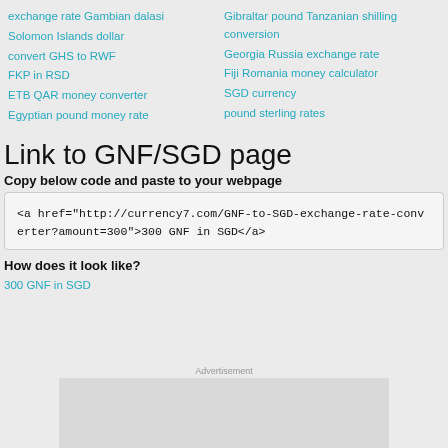exchange rate Gambian dalasi
Solomon Islands dollar
convert GHS to RWF
FKP in RSD
ETB QAR money converter
Egyptian pound money rate
Gibraltar pound Tanzanian shilling conversion
Georgia Russia exchange rate
Fiji Romania money calculator
SGD currency
pound sterling rates
Link to GNF/SGD page
Copy below code and paste to your webpage
<a href="http://currency7.com/GNF-to-SGD-exchange-rate-converter?amount=300">300 GNF in SGD</a>
How does it look like?
300 GNF in SGD
Advertisement